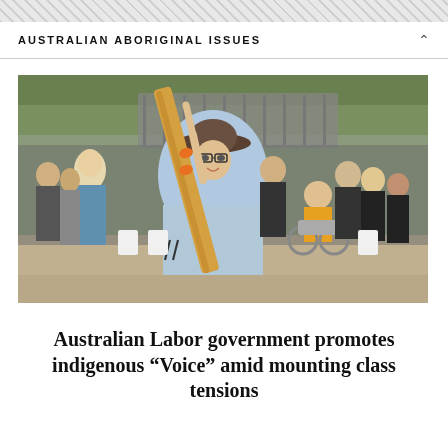AUSTRALIAN ABORIGINAL ISSUES
[Figure (photo): A man in a wide-brimmed hat and light blue shirt holds a large didgeridoo aloft, smiling, surrounded by a crowd of people at an outdoor event. A person in a yellow shirt sits in a wheelchair nearby. People in black shirts are visible in the background.]
Australian Labor government promotes indigenous “Voice” amid mounting class tensions